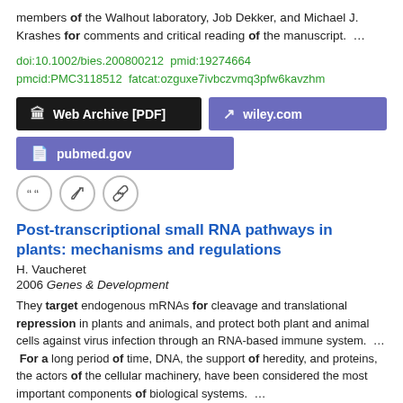members of the Walhout laboratory, Job Dekker, and Michael J. Krashes for comments and critical reading of the manuscript.  …
doi:10.1002/bies.200800212  pmid:19274664  pmcid:PMC3118512  fatcat:ozguxe7ivbczvmq3pfw6kavzhm
[Figure (screenshot): Three buttons: Web Archive [PDF] (black), wiley.com (purple), pubmed.gov (purple)]
[Figure (infographic): Three circular icon buttons: quote, edit, link]
Post-transcriptional small RNA pathways in plants: mechanisms and regulations
H. Vaucheret
2006 Genes & Development
They target endogenous mRNAs for cleavage and translational repression in plants and animals, and protect both plant and animal cells against virus infection through an RNA-based immune system.  …  For a long period of time, DNA, the support of heredity, and proteins, the actors of the cellular machinery, have been considered the most important components of biological systems.  …
Acknowledgments I thank Allison Mallory for critical reading of the…